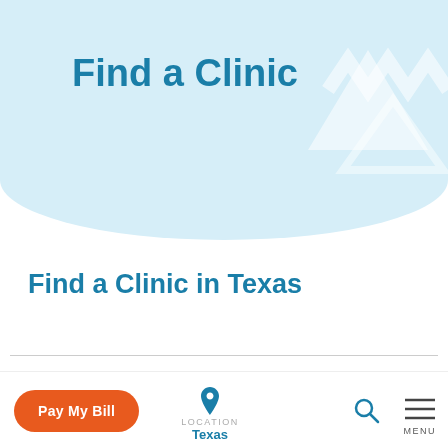Find a Clinic
Find a Clinic in Texas
Nova Health is now BestMed.
New name. Same team. Same Care That Is Personal.
Pay My Bill
LOCATION Texas